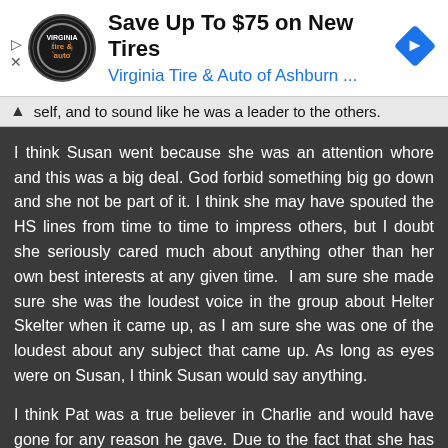[Figure (other): Advertisement banner for Virginia Tire & Auto of Ashburn with logo, headline 'Save Up To $75 on New Tires', blue subtext 'Virginia Tire & Auto of Ashburn ...', and blue diamond arrow icon]
self, and to sound like he was a leader to the others.
I think Susan went because she was an attention whore and this was a big deal. God forbid something big go down and she not be part of it. I think she may have spouted the HS lines from time to time to impress others, but I doubt she seriously cared much about anything other than her own best interests at any given time.  I am sure she made sure she was the loudest voice in the group about Helter Skelter when it came up, as I am sure she was one of the loudest about any subject that came up. As long as eyes were on Susan, I think Susan would say anything.
I think Pat was a true believer in Charlie and would have gone for any reason he gave. Due to the fact that she has never given any reason outside of the pending race war, I believe she went along with that as the motivation at the